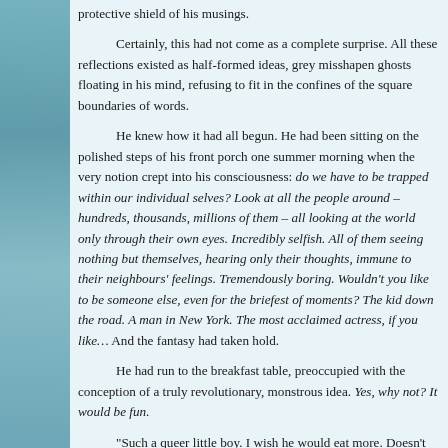protective shield of his musings.
Certainly, this had not come as a complete surprise. All these reflections existed as half-formed ideas, grey misshapen ghosts floating in his mind, refusing to fit in the confines of the square boundaries of words.
He knew how it had all begun. He had been sitting on the polished steps of his front porch one summer morning when the very notion crept into his consciousness: do we have to be trapped within our individual selves? Look at all the people around – hundreds, thousands, millions of them – all looking at the world only through their own eyes. Incredibly selfish. All of them seeing nothing but themselves, hearing only their thoughts, immune to their neighbours' feelings. Tremendously boring. Wouldn't you like to be someone else, even for the briefest of moments? The kid down the road. A man in New York. The most acclaimed actress, if you like… And the fantasy had taken hold.
He had run to the breakfast table, preoccupied with the conception of a truly revolutionary, monstrous idea. Yes, why not? It would be fun.
“Such a queer little boy. I wish he would eat more. Doesn’t he have friends to eat with?”
He had started, his heart clenching itself into a dreadful little knot…